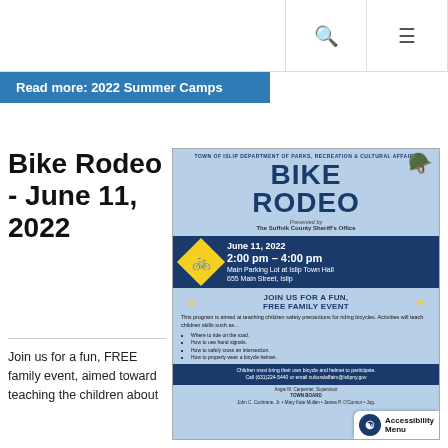Navigation bar with search and menu icons
Read more: 2022 Summer Camps
Bike Rodeo - June 11, 2022
Join us for a fun, FREE family event, aimed toward teaching the children about
[Figure (illustration): Bike Rodeo event flyer from Town of Islip Department of Parks, Recreation & Cultural Affairs, presented by The Suffolk County Sheriff's Office. June 11, 2022, 2:00 pm - 4:00 pm, Main Parking Lot at Islip Town Hall, 655 Main Street, Islip. Join us for a fun, free family event. Includes program description and list of activities. Footer with contact info and town board names.]